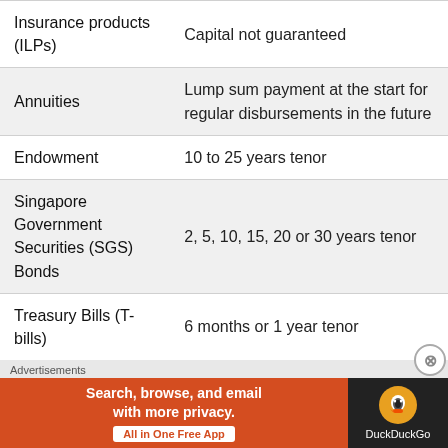| Product | Feature |
| --- | --- |
| Insurance products (ILPs) | Capital not guaranteed |
| Annuities | Lump sum payment at the start for regular disbursements in the future |
| Endowment | 10 to 25 years tenor |
| Singapore Government Securities (SGS) Bonds | 2, 5, 10, 15, 20 or 30 years tenor |
| Treasury Bills (T-bills) | 6 months or 1 year tenor |